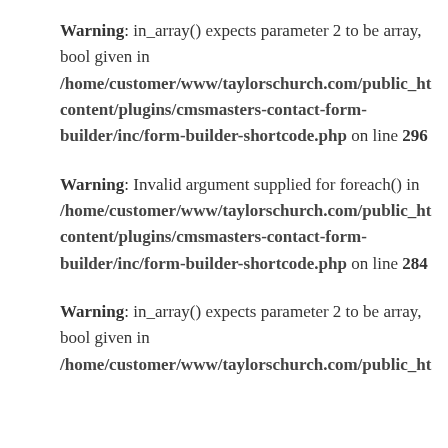Warning: in_array() expects parameter 2 to be array, bool given in /home/customer/www/taylorschurch.com/public_h…content/plugins/cmsmasters-contact-form-builder/inc/form-builder-shortcode.php on line 296
Warning: Invalid argument supplied for foreach() in /home/customer/www/taylorschurch.com/public_h…content/plugins/cmsmasters-contact-form-builder/inc/form-builder-shortcode.php on line 284
Warning: in_array() expects parameter 2 to be array, bool given in /home/customer/www/taylorschurch.com/public_h…